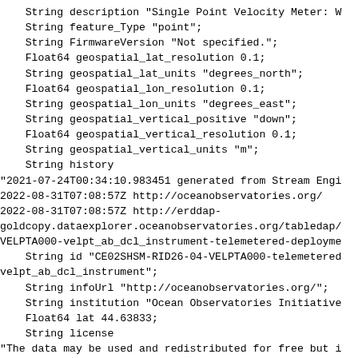String description "Single Point Velocity Meter: W
    String feature_Type "point";
    String FirmwareVersion "Not specified.";
    Float64 geospatial_lat_resolution 0.1;
    String geospatial_lat_units "degrees_north";
    Float64 geospatial_lon_resolution 0.1;
    String geospatial_lon_units "degrees_east";
    String geospatial_vertical_positive "down";
    Float64 geospatial_vertical_resolution 0.1;
    String geospatial_vertical_units "m";
    String history
"2021-07-24T00:34:10.983451 generated from Stream Engi
2022-08-31T07:08:57Z http://oceanobservatories.org/
2022-08-31T07:08:57Z http://erddap-
goldcopy.dataexplorer.oceanobservatories.org/tabledap/
VELPTA000-velpt_ab_dcl_instrument-telemetryed-deployme
    String id "CE02SHSM-RID26-04-VELPTA000-telemetered
velpt_ab_dcl_instrument";
    String infoUrl "http://oceanobservatories.org/";
    String institution "Ocean Observatories Initiative
    Float64 lat 44.63833;
    String license
"The data may be used and redistributed for free but i
for legal use, since it may contain inaccuracies. Neit
Contributor, ERD, NOAA, nor the United States Governme
of their employees or contractors, makes any warranty